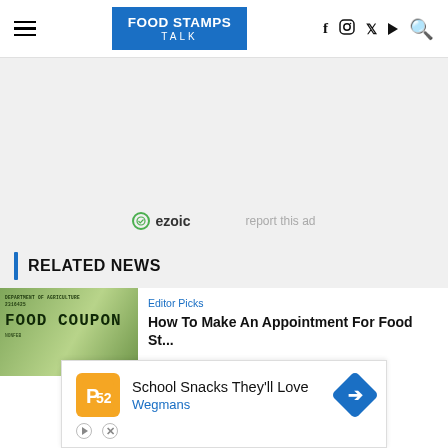FOOD STAMPS TALK
[Figure (screenshot): Advertisement area with ezoic logo and 'report this ad' text]
RELATED NEWS
[Figure (photo): Food coupon / food stamp image from USDA Department of Agriculture]
Editor Picks
How To Make An Appointment For Food St...
[Figure (screenshot): Bottom advertisement: School Snacks They'll Love - Wegmans]